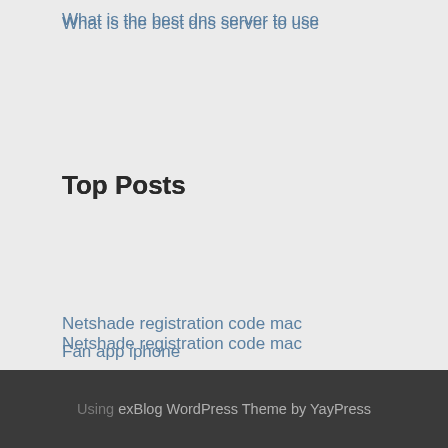What is the best dns server to use
Top Posts
Netshade registration code mac
Fan app iphone
How to hack a twitter account easy
Actiontec support
Free proxyyoutube
Using exBlog WordPress Theme by YayPress